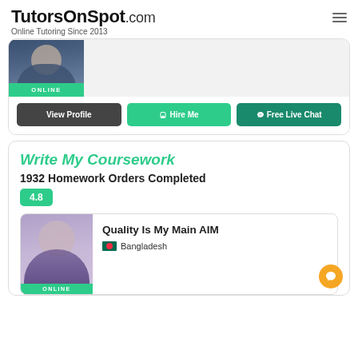TutorsOnSpot.com — Online Tutoring Since 2013
[Figure (photo): Partial tutor profile photo with ONLINE badge]
View Profile | Hire Me | Free Live Chat
Write My Coursework
1932 Homework Orders Completed
4.8
Quality Is My Main AIM
Bangladesh